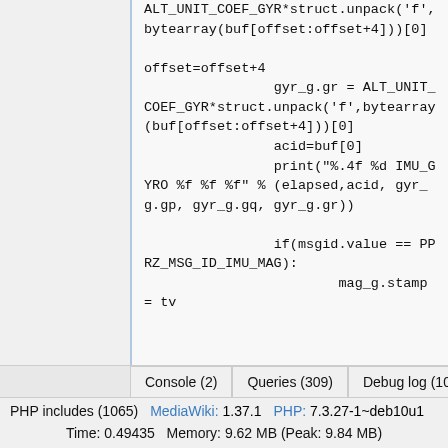[Figure (screenshot): Code viewer showing Python code with gyroscope and magnetometer data parsing, including ALT_UNIT_COEF_GYR struct.unpack calls, offset increments, print statement for IMU_GYRO, and if(msgid.value == PPRZ_MSG_ID_IMU_MAG) with mag_g.stamp = tv]
Console (2)   Queries (309)   Debug log (1045)   Request
PHP includes (1065)   MediaWiki: 1.37.1   PHP: 7.3.27-1~deb10u1
Time: 0.49435   Memory: 9.62 MB (Peak: 9.84 MB)